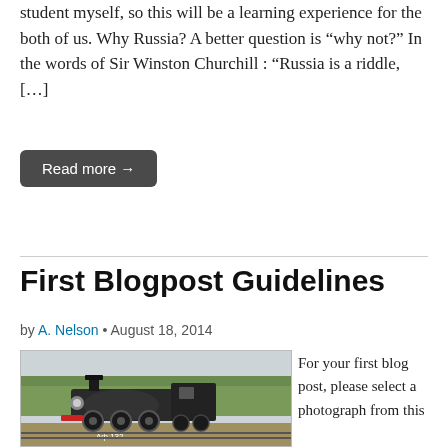student myself, so this will be a learning experience for the both of us. Why Russia? A better question is “why not?” In the words of Sir Winston Churchill : “Russia is a riddle, […]
Read more →
First Blogpost Guidelines
by A. Nelson • August 18, 2014
[Figure (photo): A vintage steam locomotive (labeled Aф 132) photographed at a station with trees in the background.]
For your first blog post, please select a photograph from this